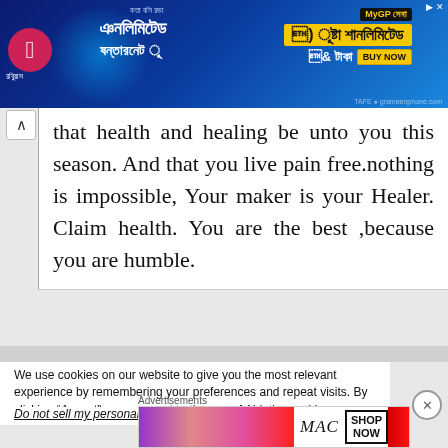[Figure (other): Mobile operator advertisement banner in Bengali language with blue background, yellow promotional boxes, BUY NOW button, and telecom logo]
that health and healing be unto you this season. And that you live pain free.nothing is impossible, Your maker is your Healer. Claim health. You are the best ,because you are humble.
We use cookies on our website to give you the most relevant experience by remembering your preferences and repeat visits. By clicking “Accept”, you consent to the use of ALL the cookies.
Do not sell my personal information
[Figure (other): MAC cosmetics advertisement showing lipsticks in purple, pink, and red colors with MAC logo and SHOP NOW button]